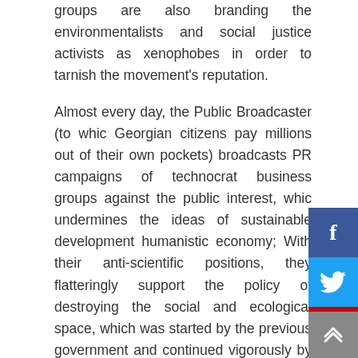groups are also branding the environmentalists and social justice activists as xenophobes in order to tarnish the movement's reputation.
Almost every day, the Public Broadcaster (to which Georgian citizens pay millions out of their own pockets) broadcasts PR campaigns of technocratic business groups against the public interest, which undermines the ideas of sustainable development and humanistic economy; With their anti-scientific positions, they flatteringly support the policy of destroying the social and ecological space, which was started by the previous government and continued vigorously by the Georgian Dream.
Moreover, NGOs, once richly funded by the Green